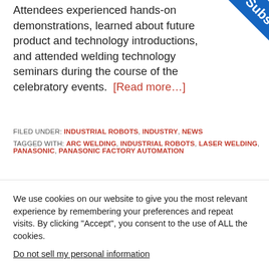Attendees experienced hands-on demonstrations, learned about future product and technology introductions, and attended welding technology seminars during the course of the celebratory events. [Read more…]
FILED UNDER: INDUSTRIAL ROBOTS, INDUSTRY, NEWS
TAGGED WITH: ARC WELDING, INDUSTRIAL ROBOTS, LASER WELDING, PANASONIC, PANASONIC FACTORY AUTOMATION
We use cookies on our website to give you the most relevant experience by remembering your preferences and repeat visits. By clicking "Accept", you consent to the use of ALL the cookies. Do not sell my personal information.